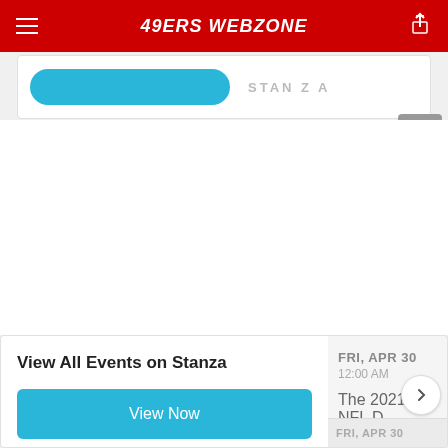49ERS WEBZONE
[Figure (screenshot): Partially visible card with a blue button and 'STANZA' text, cut off at top]
[Figure (screenshot): Scroll-to-top button (gray triangle/arrow up button)]
View All Events on Stanza
View Now
FRI, APR 30
12:00 AM
The 2021 NFL D
FRI, APR 30